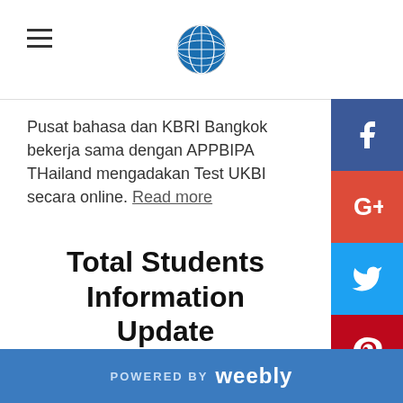Navigation bar with hamburger menu and globe logo
Pusat bahasa dan KBRI Bangkok bekerja sama dengan APPBIPA THailand mengadakan Test UKBI secara online. Read more
Total Students Information Update
The students who take Indonesian Language
[Figure (other): Social media sidebar buttons: Facebook (blue), Google+ (red), Twitter (light blue), Pinterest (dark red), Blogger (orange), YouTube (dark blue), and a grey more button]
POWERED BY weebly